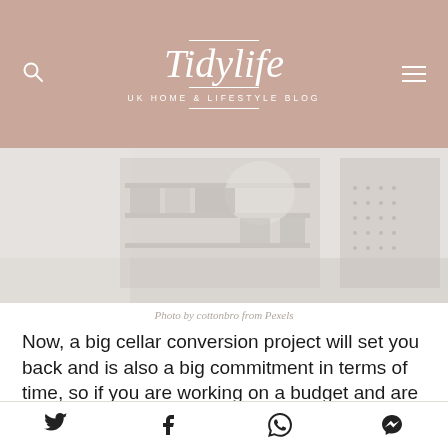Tidylife — UK HOME & LIFESTYLE BLOG
[Figure (photo): Faded interior photo of a storage room or cellar with shelving units, baskets, and storage boxes, rendered in light muted tones.]
Photo by cottonbro from Pexels
Now, a big cellar conversion project will set you back and is also a big commitment in terms of time, so if you are working on a budget and are keen to find storage solutions as quickly as possible, then it may make more sense to think about what you can store down there and
Social share icons: Twitter, Facebook, WhatsApp, Messenger